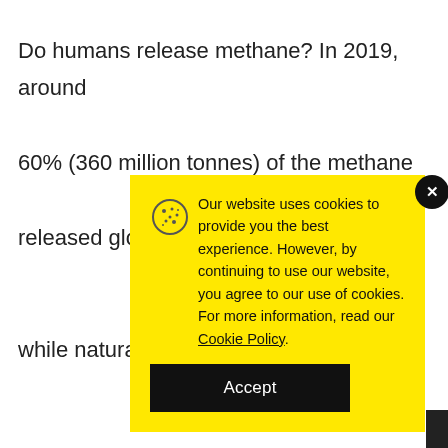Do humans release methane? In 2019, around 60% (360 million tonnes) of the methane released glo... while natura... (230 million ... streams, par... landfills and ...
[Figure (screenshot): Cookie consent modal with yellow background, cookie icon, text about website cookies policy, Accept button, and close (X) button.]